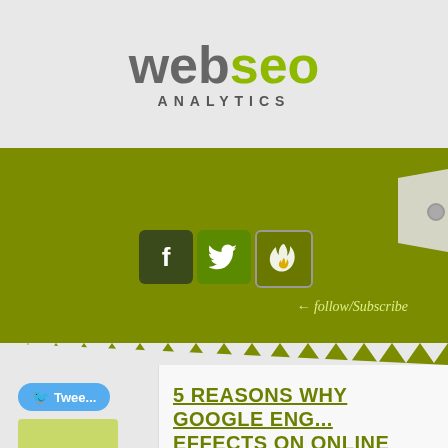[Figure (logo): webseo ANALYTICS logo — 'web' in grey bold, 'seo' in olive green bold, 'ANALYTICS' in dark grey spaced caps below]
[Figure (screenshot): Olive green banner with Facebook, Twitter, and Digg social media icons and handwritten 'follow/Subscribe' label, with a notebook tab on the right side]
5 REASONS WHY GOOGLE ENG... EFFECTS ON ONLINE MARKET...
Posted by bbriniotis on Monday, Octo... to Marketing, SEO